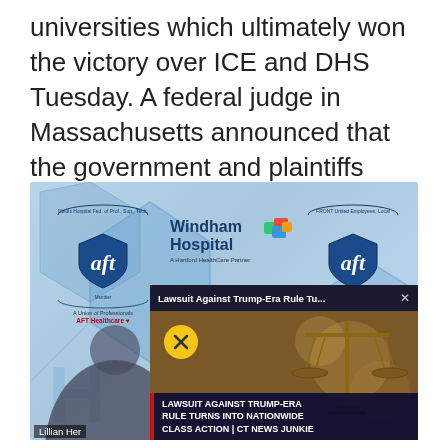universities which ultimately won the victory over ICE and DHS Tuesday. A federal judge in Massachusetts announced that the government and plaintiffs reached a decision.
[Figure (screenshot): Screenshot composite: AFT Healthcare union logos and Windham Hospital logo on a blue background (top), overlaid with a video popup showing 'Lawsuit Against Trump-Era Rule Tu... X' header and a news lower-third reading 'LAWSUIT AGAINST TRUMP-ERA RULE TURNS INTO NATIONWIDE CLASS ACTION | CT NEWS JUNKIE' with scales of justice visible. Caption 'Lillian Her' visible at bottom left.]